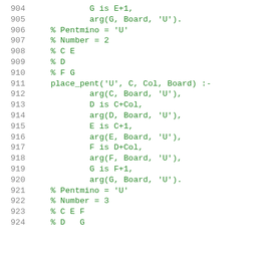904    G is E+1,
905    arg(G, Board, 'U').
906 % Pentmino = 'U'
907 % Number = 2
908 % C E
909 % D
910 % F G
911 place_pent('U', C, Col, Board) :-
912    arg(C, Board, 'U'),
913    D is C+Col,
914    arg(D, Board, 'U'),
915    E is C+1,
916    arg(E, Board, 'U'),
917    F is D+Col,
918    arg(F, Board, 'U'),
919    G is F+1,
920    arg(G, Board, 'U').
921 % Pentmino = 'U'
922 % Number = 3
923 % C E F
924 % D   G